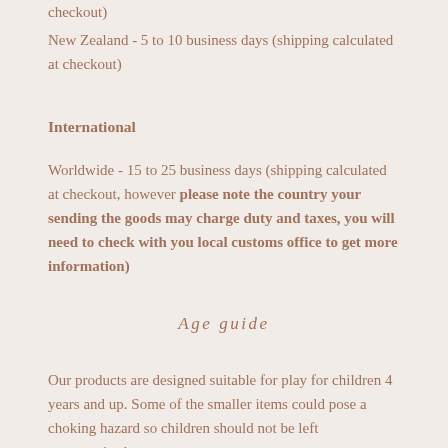checkout)
New Zealand - 5 to 10 business days (shipping calculated at checkout)
International
Worldwide - 15 to 25 business days (shipping calculated at checkout, however please note the country your sending the goods may charge duty and taxes, you will need to check with you local customs office to get more information)
Age guide
Our products are designed suitable for play for children 4 years and up. Some of the smaller items could pose a choking hazard so children should not be left unsupervised